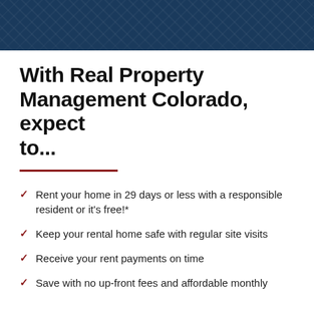[Figure (photo): Dark blue header background with faint architectural/building pattern overlay]
With Real Property Management Colorado, expect to...
Rent your home in 29 days or less with a responsible resident or it's free!*
Keep your rental home safe with regular site visits
Receive your rent payments on time
Save with no up-front fees and affordable monthly